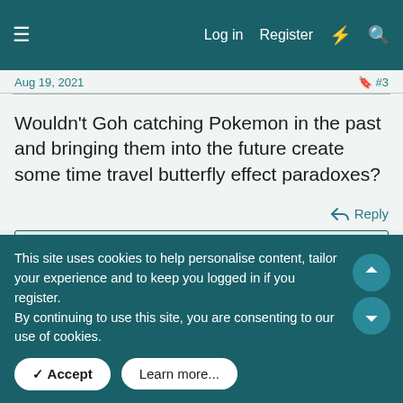Log in  Register
Aug 19, 2021  #3
Wouldn't Goh catching Pokemon in the past and bringing them into the future create some time travel butterfly effect paradoxes?
Reply
Jewel the Quaxly, Defiant and cricketlaxwolvesbandy
Silktree
Not Dead
Aug 19, 2021  #13
This site uses cookies to help personalise content, tailor your experience and to keep you logged in if you register.
By continuing to use this site, you are consenting to our use of cookies.
Accept
Learn more...